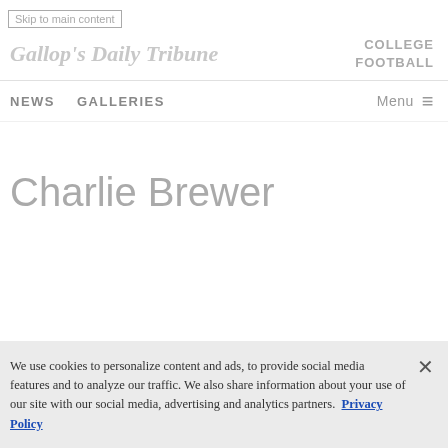Skip to main content
[Figure (logo): Stylized italic script logo text resembling a newspaper name]
COLLEGE FOOTBALL
NEWS   GALLERIES   Menu ≡
Charlie Brewer
We use cookies to personalize content and ads, to provide social media features and to analyze our traffic. We also share information about your use of our site with our social media, advertising and analytics partners. Privacy Policy